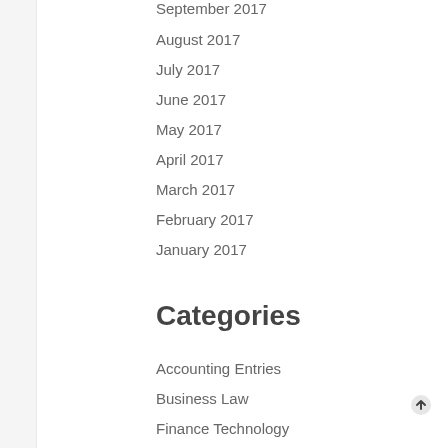September 2017
August 2017
July 2017
June 2017
May 2017
April 2017
March 2017
February 2017
January 2017
Categories
Accounting Entries
Business Law
Finance Technology
General
Marketing News
Production News